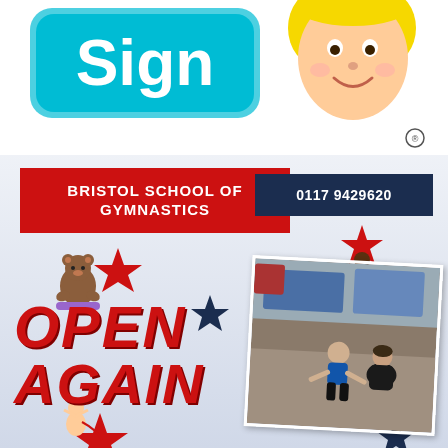[Figure (logo): Tiny Sign logo with cartoon character - child signing, text 'Sign' on cyan rounded rectangle with cartoon girl face]
BRISTOL SCHOOL OF GYMNASTICS
0117 9429620
[Figure (illustration): Decorative stars (red and navy), cartoon gymnastics figures, cartoon bear, handstand figure, cherub with ribbon]
OPEN AGAIN
[Figure (photo): Photo of a toddler in a blue shirt and an adult crouching in a gymnastics gym with blue mats in background]